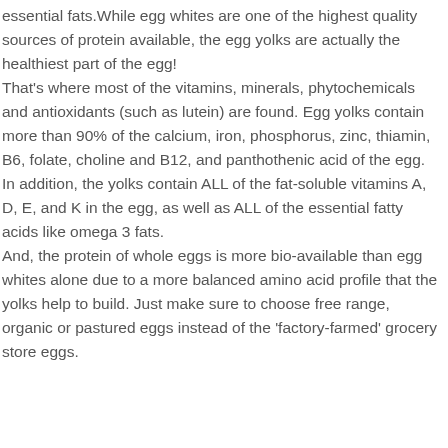essential fats.While egg whites are one of the highest quality sources of protein available, the egg yolks are actually the healthiest part of the egg! That's where most of the vitamins, minerals, phytochemicals and antioxidants (such as lutein) are found. Egg yolks contain more than 90% of the calcium, iron, phosphorus, zinc, thiamin, B6, folate, choline and B12, and panthothenic acid of the egg. In addition, the yolks contain ALL of the fat-soluble vitamins A, D, E, and K in the egg, as well as ALL of the essential fatty acids like omega 3 fats. And, the protein of whole eggs is more bio-available than egg whites alone due to a more balanced amino acid profile that the yolks help to build. Just make sure to choose free range, organic or pastured eggs instead of the 'factory-farmed' grocery store eggs.